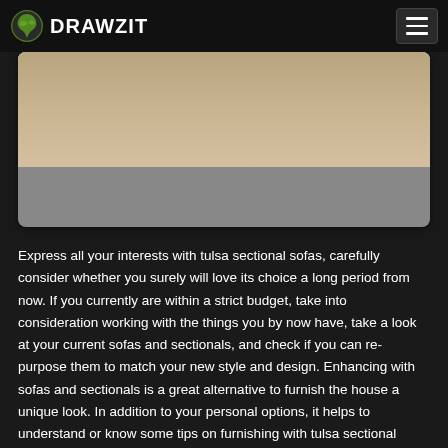DRAWZIT
[Figure (photo): Partial view of a beige/tan sectional sofa on a patterned area rug, with a gray lower portion of the card]
Express all your interests with tulsa sectional sofas, carefully consider whether you surely will love its choice a long period from now. If you currently are within a strict budget, take into consideration working with the things you by now have, take a look at your current sofas and sectionals, and check if you can re-purpose them to match your new style and design. Enhancing with sofas and sectionals is a great alternative to furnish the house a unique look. In addition to your personal options, it helps to understand or know some tips on furnishing with tulsa sectional sofas. Keep yourself to all of your preference any time you think of new plan, furnishing, and also accessories preference and then furnish to make your interior a warm, comfy also welcoming one.